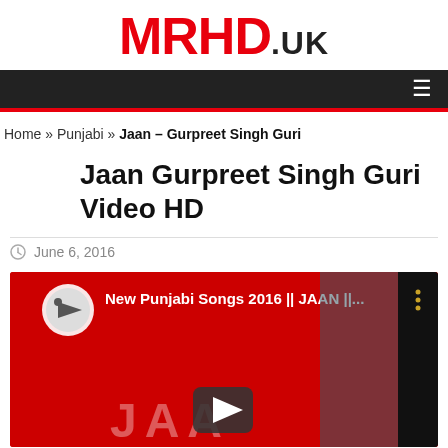MRHD.UK
Home » Punjabi » Jaan – Gurpreet Singh Guri
Jaan Gurpreet Singh Guri Video HD
June 6, 2016
[Figure (screenshot): YouTube video thumbnail for 'New Punjabi Songs 2016 || JAAN ||...' with red background, play button, and HD VIDEO badge on the right side]